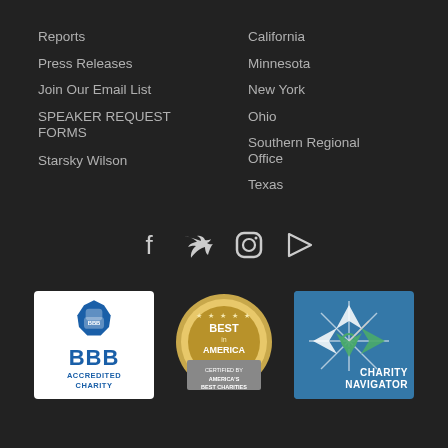Reports
Press Releases
Join Our Email List
SPEAKER REQUEST FORMS
Starsky Wilson
California
Minnesota
New York
Ohio
Southern Regional Office
Texas
[Figure (infographic): Social media icons row: Facebook, Twitter, Instagram, YouTube]
[Figure (logo): BBB Accredited Charity badge]
[Figure (logo): Best in America certified by America's Best Charities badge]
[Figure (logo): Charity Navigator logo badge]